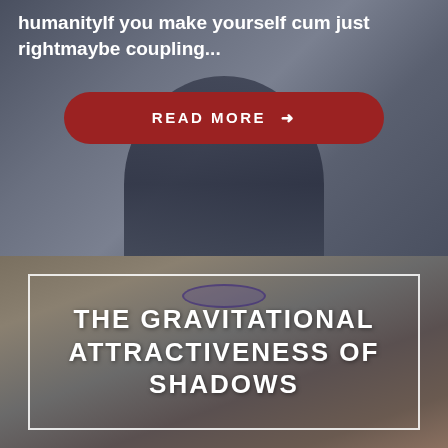humanityIf you make yourself cum just rightmaybe coupling...
[Figure (photo): Dark overlay image of a person in a hooded garment, upper section of a blog post card]
READ MORE →
[Figure (photo): Close-up photo of a person with glasses and blonde hair, lower blog post card with title overlay]
THE GRAVITATIONAL ATTRACTIVENESS OF SHADOWS